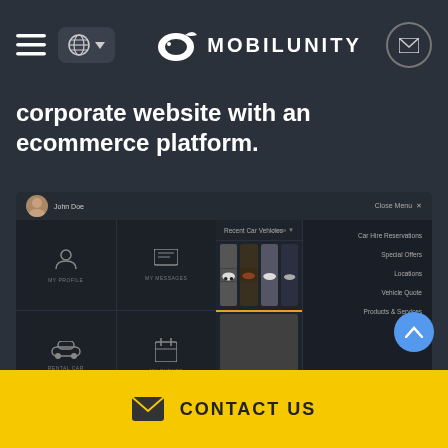[Figure (screenshot): Mobilunity website navigation bar with hamburger menu, globe/language selector, Mobilunity logo with whale icon, and mail icon]
corporate website with an ecommerce platform.
[Figure (screenshot): Car hire website dashboard UI showing user profile with John Doe, navigation icons (My Profile, My Messages, Rental Car, My Events, My Packages Offers, Booking), car thumbnails gallery, a main video area showing a black Mercedes sports car, and a side menu with Car Hire Reservations, Special Offers, Locations, Vehicle Quote, Products & Services]
As most of car rental websites, this one has the following
[Figure (other): Yellow contact us footer bar with envelope icon and CONTACT US text]